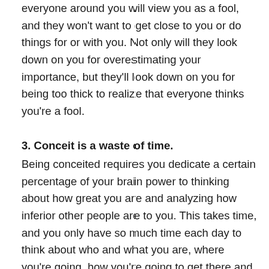While you go around viewing yourself as a golden god, everyone around you will view you as a fool, and they won't want to get close to you or do things for or with you. Not only will they look down on you for overestimating your importance, but they'll look down on you for being too thick to realize that everyone thinks you're a fool.
3. Conceit is a waste of time.
Being conceited requires you dedicate a certain percentage of your brain power to thinking about how great you are and analyzing how inferior other people are to you. This takes time, and you only have so much time each day to think about who and what you are, where you're going, how you're going to get there and what you're going to do. In between all that you also have to think about how to navigate your way through your daily